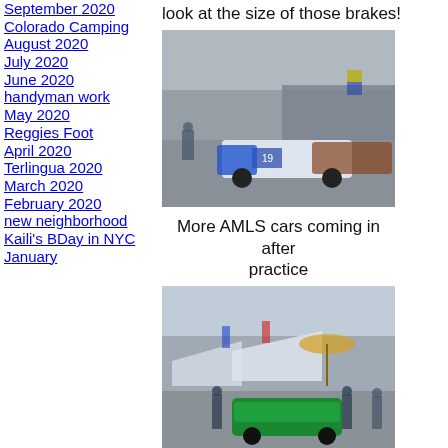September 2020
Colorado Camping August 2020
July 2020
June 2020
handyman work
May 2020
Reggies Foot
April 2020
Terlingua 2020
March 2020
February 2020
new neighborhood
Kaili's BDay in NYC
January
look at the size of those brakes!
[Figure (photo): Racing cars on a track/paddock area with crowd in background]
More AMLS cars coming in after practice
[Figure (photo): Racing cars in paddock area with people and tents]